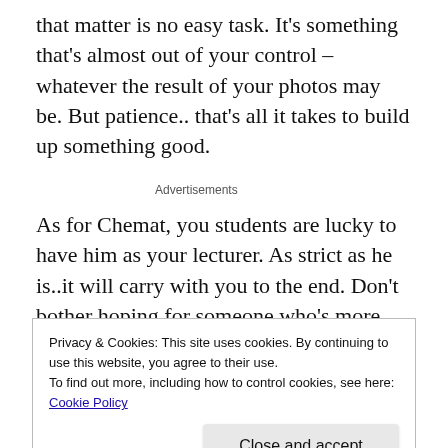that matter is no easy task. It's something that's almost out of your control – whatever the result of your photos may be. But patience.. that's all it takes to build up something good.
Advertisements
As for Chemat, you students are lucky to have him as your lecturer. As strict as he is..it will carry with you to the end. Don't bother hoping for someone who's more delicate with
Privacy & Cookies: This site uses cookies. By continuing to use this website, you agree to their use.
To find out more, including how to control cookies, see here: Cookie Policy
[Figure (photo): Bottom strip showing part of a person's face/head against a teal/green background]